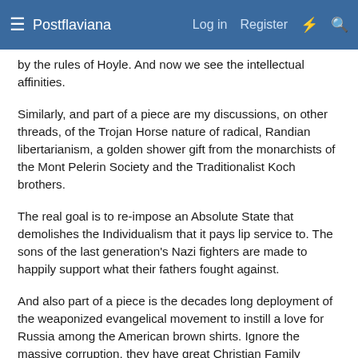Postflaviana  Log in  Register
by the rules of Hoyle. And now we see the intellectual affinities.
Similarly, and part of a piece are my discussions, on other threads, of the Trojan Horse nature of radical, Randian libertarianism, a golden shower gift from the monarchists of the Mont Pelerin Society and the Traditionalist Koch brothers.
The real goal is to re-impose an Absolute State that demolishes the Individualism that it pays lip service to. The sons of the last generation's Nazi fighters are made to happily support what their fathers fought against.
And also part of a piece is the decades long deployment of the weaponized evangelical movement to instill a love for Russia among the American brown shirts. Ignore the massive corruption, they have great Christian Family Values. Besides, the amount of personal wealth is a respective measure of how much God loves you. Ironic, though, is the global harmonization of the Mother Church with all its prior (fake) schisms, and the